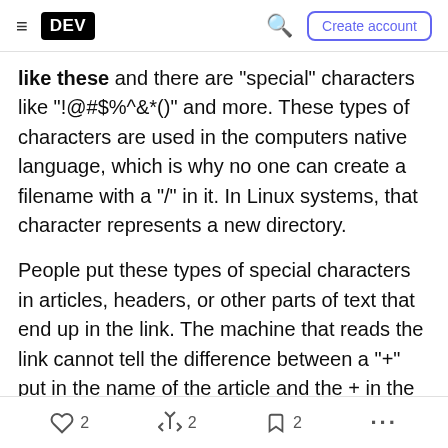DEV | Create account
like these and there are "special" characters like "!@#$%^&*()" and more. These types of characters are used in the computers native language, which is why no one can create a filename with a "/" in it. In Linux systems, that character represents a new directory.
People put these types of special characters in articles, headers, or other parts of text that end up in the link. The machine that reads the link cannot tell the difference between a "+" put in the name of the article and the + in the native language, so it translates that character to text that the machine
2  2  2  ...